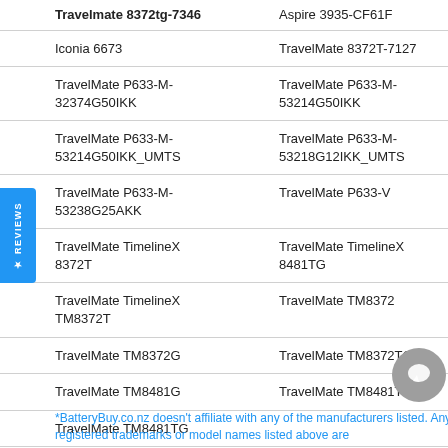| Travelmate 8372tg-7346 | Aspire 3935-CF61F |
| Iconia 6673 | TravelMate 8372T-7127 |
| TravelMate P633-M-32374G50IKK | TravelMate P633-M-53214G50IKK |
| TravelMate P633-M-53214G50IKK_UMTS | TravelMate P633-M-53218G12IKK_UMTS |
| TravelMate P633-M-53238G25AKK | TravelMate P633-V |
| TravelMate TimelineX 8372T | TravelMate TimelineX 8481TG |
| TravelMate TimelineX TM8372T | TravelMate TM8372 |
| TravelMate TM8372G | TravelMate TM8372TG |
| TravelMate TM8481G | TravelMate TM8481T |
| TravelMate TM8481TG |  |
*BatteryBuy.co.nz doesn't affiliate with any of the manufacturers listed. Any registered trademarks or model names listed above are